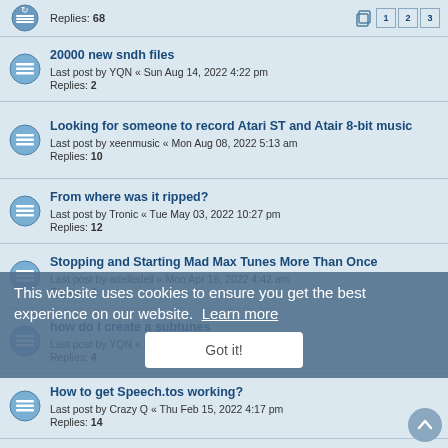Replies: 68 | pages: 1 2 3
20000 new sndh files
Last post by YQN « Sun Aug 14, 2022 4:22 pm
Replies: 2
Looking for someone to record Atari ST and Atair 8-bit music
Last post by xeenmusic « Mon Aug 08, 2022 5:13 am
Replies: 10
From where was it ripped?
Last post by Tronic « Tue May 03, 2022 10:27 pm
Replies: 12
Stopping and Starting Mad Max Tunes More Than Once
Last post by adelledell « Mon Apr 18, 2022 4:42 am
Replies: 4
how do I create a subtunes
Last post by YQN « Mon Feb 21, 2022 12:35 am
Replies: 4
How to get Speech.tos working?
Last post by Crazy Q « Thu Feb 15, 2022 4:17 pm
Replies: 14
New YM tracker: TTRAK
Last post by Crazy Q « Thu Jan 06, 2022 7:27 am
Replies: 77 | pages: 1 2 3 4
soundtracker songs
Last post by dma « Tue Jan 04, 2022 8:38 pm
Replies: 8
This website uses cookies to ensure you get the best experience on our website. Learn more
Got it!